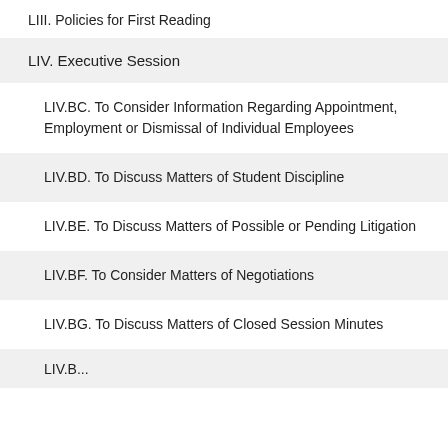LIII. Policies for First Reading
LIV. Executive Session
LIV.BC. To Consider Information Regarding Appointment, Employment or Dismissal of Individual Employees
LIV.BD. To Discuss Matters of Student Discipline
LIV.BE. To Discuss Matters of Possible or Pending Litigation
LIV.BF. To Consider Matters of Negotiations
LIV.BG. To Discuss Matters of Closed Session Minutes
LIV.B...